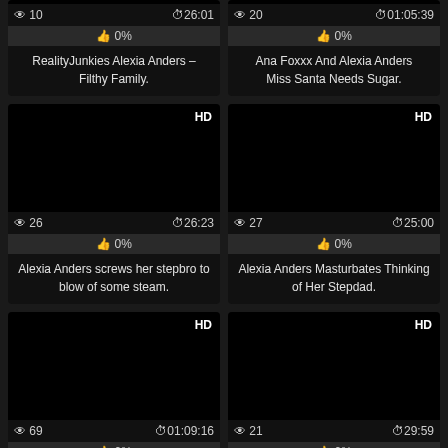[Figure (screenshot): Video thumbnail black, 10 views, 26:01 duration, 0% likes, title: RealityJunkies Alexia Anders – Filthy Family.]
[Figure (screenshot): Video thumbnail black, 20 views, 01:05:39 duration, 0% likes, title: Ana Foxxx And Alexia Anders Miss Santa Needs Sugar.]
[Figure (screenshot): Video thumbnail black HD, 26 views, 26:23 duration, 0% likes, title: Alexia Anders screws her stepbro to blow of some steam.]
[Figure (screenshot): Video thumbnail black HD, 27 views, 25:00 duration, 0% likes, title: Alexia Anders Masturbates Thinking of Her Stepdad.]
[Figure (screenshot): Video thumbnail black HD, 69 views, 01:09:16 duration, 0% likes.]
[Figure (screenshot): Video thumbnail black HD, 21 views, 29:59 duration, 0% likes.]